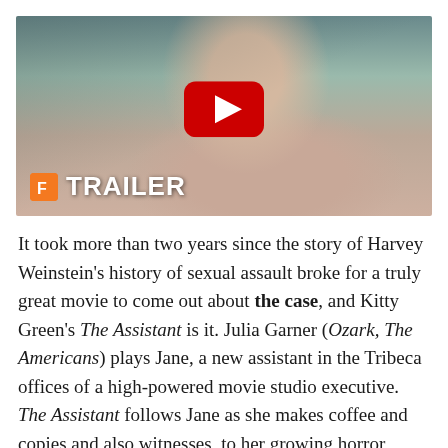[Figure (screenshot): Video thumbnail showing a young woman in a mauve turtleneck sweater against a muted teal/grey background. A large red YouTube play button is centered on the image. In the lower left corner is a Fandango logo (orange square with 'F') followed by the word 'TRAILER' in large white bold text.]
It took more than two years since the story of Harvey Weinstein's history of sexual assault broke for a truly great movie to come out about the case, and Kitty Green's The Assistant is it. Julia Garner (Ozark, The Americans) plays Jane, a new assistant in the Tribeca offices of a high-powered movie studio executive. The Assistant follows Jane as she makes coffee and copies and also witnesses, to her growing horror, what she thinks might be her powerful boss's inappropriate behavior. We don't